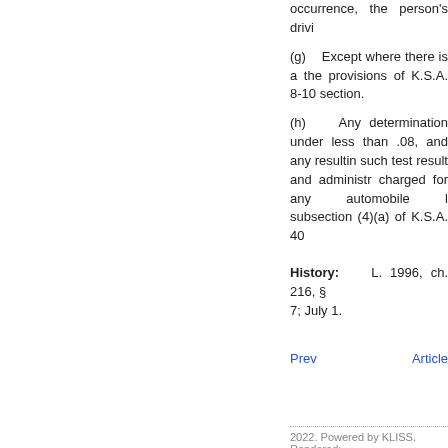occurrence, the person's drivi
(g)   Except where there is a the provisions of K.S.A. 8-10 section.
(h)   Any determination under less than .08, and any resultin such test result and administr charged for any automobile l subsection (4)(a) of K.S.A. 40
History:   L. 1996, ch. 216, § 7; July 1.
Prev   Article
2022. Powered by KLISS. Rendered: